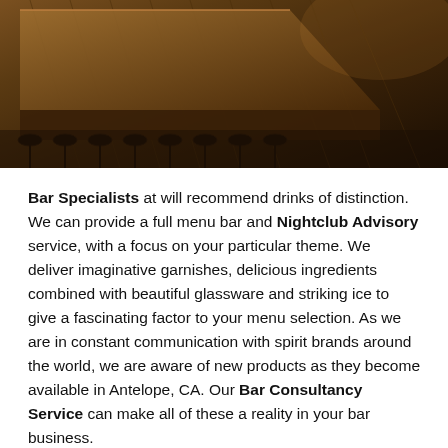[Figure (photo): Interior photo of a bar/nightclub showing a long bar counter with wooden stools, wooden floor with planks, warm amber lighting creating a moody atmosphere.]
Bar Specialists at will recommend drinks of distinction. We can provide a full menu bar and Nightclub Advisory service, with a focus on your particular theme. We deliver imaginative garnishes, delicious ingredients combined with beautiful glassware and striking ice to give a fascinating factor to your menu selection. As we are in constant communication with spirit brands around the world, we are aware of new products as they become available in Antelope, CA. Our Bar Consultancy Service can make all of these a reality in your bar business.
BAR MUSIC